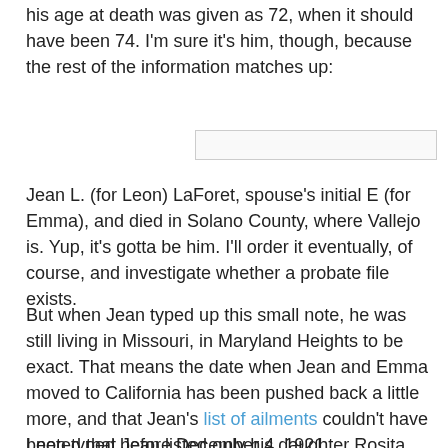his age at death was given as 72, when it should have been 74.  I'm sure it's him, though, because the rest of the information matches up:
[Figure (other): A horizontal input field or image placeholder, light gray with thin border]
Jean L. (for Leon) LaForet, spouse's initial E (for Emma), and died in Solano County, where Vallejo is.  Yup, it's gotta be him.  I'll order it eventually, of course, and investigate whether a probate file exists.
But when Jean typed up this small note, he was still living in Missouri, in Maryland Heights to be exact.  That means the date when Jean and Emma moved to California has been pushed back a little more, and that Jean's list of ailments couldn't have been typed before December 4, 1921.
I noted that Jean listed only his daughter Rosita, who was Emma's child.  There's no mention of Adrienne, born in 1874, whom I believe was also his daughter.  Perhaps the "instructions and informations" were only for Emma and Rosita, but Adrienne was in the will.  I also noted that Emma